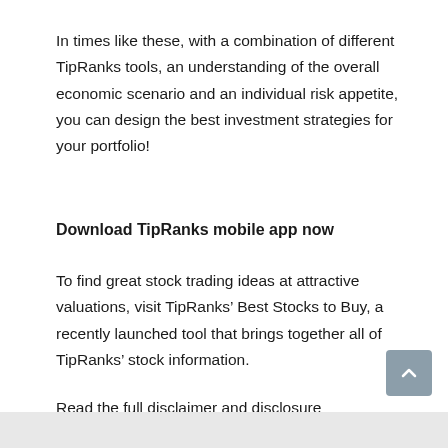In times like these, with a combination of different TipRanks tools, an understanding of the overall economic scenario and an individual risk appetite, you can design the best investment strategies for your portfolio!
Download TipRanks mobile app now
To find great stock trading ideas at attractive valuations, visit TipRanks’ Best Stocks to Buy, a recently launched tool that brings together all of TipRanks’ stock information.
Read the full disclaimer and disclosure